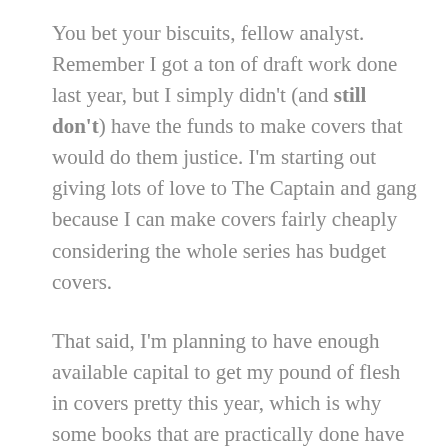You bet your biscuits, fellow analyst. Remember I got a ton of draft work done last year, but I simply didn't (and still don't) have the funds to make covers that would do them justice. I'm starting out giving lots of love to The Captain and gang because I can make covers fairly cheaply considering the whole series has budget covers.
That said, I'm planning to have enough available capital to get my pound of flesh in covers pretty this year, which is why some books that are practically done have been pushed to the further part. Look forward to lots and lots of great reads from yours truly this year!
Here's the kinds of horrible things I've been up to: